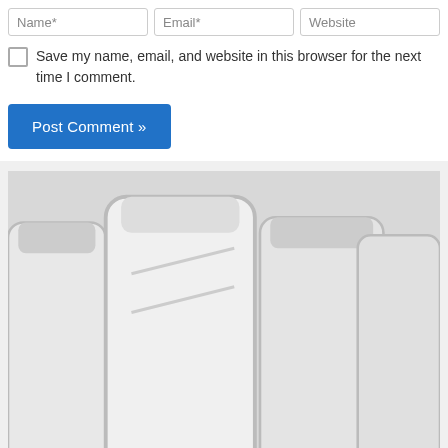Name* | Email* | Website
Save my name, email, and website in this browser for the next time I comment.
Post Comment »
[Figure (photo): Product bottles labeled FOLITAL arranged side by side]
Folital Scam alert: Shocking Folital ⚠️ Side Effects Reports – Does Folital work?